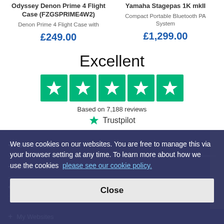Odyssey Denon Prime 4 Flight Case (FZGSPRIME4W2)
Denon Prime 4 Flight Case with
£249.00
Yamaha Stagepas 1K mkII
Compact Portable Bluetooth PA System
£1,299.00
Excellent
[Figure (infographic): Trustpilot 5-star rating: five green star boxes]
Based on 7,188 reviews
[Figure (logo): Trustpilot logo with green star]
We use cookies on our websites. You are free to manage this via your browser setting at any time. To learn more about how we use the cookies  please see our cookie policy.
+ Get in touch
+ Learn more
Close
+ Your account